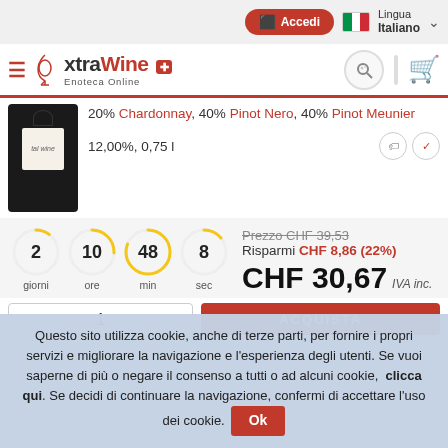Accedi | Lingua Italiano
[Figure (logo): xtraWine Enoteca Online logo with Swiss cross]
20% Chardonnay, 40% Pinot Nero, 40% Pinot Meunier
12,00%, 0,75 l
2 giorni 10 ore 48 min 8 sec — Prezzo CHF 39,53 — Risparmi CHF 8,86 (22%) — CHF 30,67 IVA inc.
ACQUISTA
Questo sito utilizza cookie, anche di terze parti, per fornire i propri servizi e migliorare la navigazione e l'esperienza degli utenti. Se vuoi saperne di più o negare il consenso a tutti o ad alcuni cookie, clicca qui. Se decidi di continuare la navigazione, confermi di accettare l'uso dei cookie. Ok